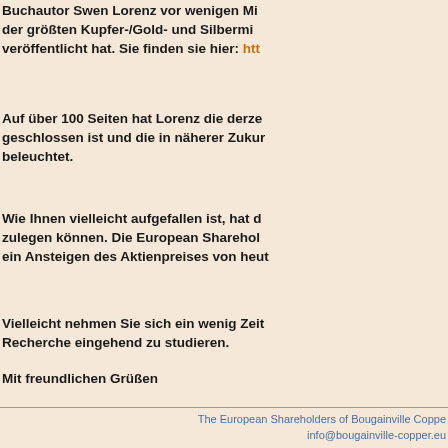Buchautor Swen Lorenz vor wenigen Mi... der größten Kupfer-/Gold- und Silbermi... veröffentlicht hat. Sie finden sie hier: htt...
Auf über 100 Seiten hat Lorenz die derze... geschlossen ist und die in näherer Zukur... beleuchtet.
Wie Ihnen vielleicht aufgefallen ist, hat d... zulegen können. Die European Sharehol... ein Ansteigen des Aktienpreises von heut...
Vielleicht nehmen Sie sich ein wenig Zeit... Recherche eingehend zu studieren.
Mit freundlichen Grüßen
Axel G. Sturm
The European Shareholders of Bougainville Copper
info@bougainville-copper.eu